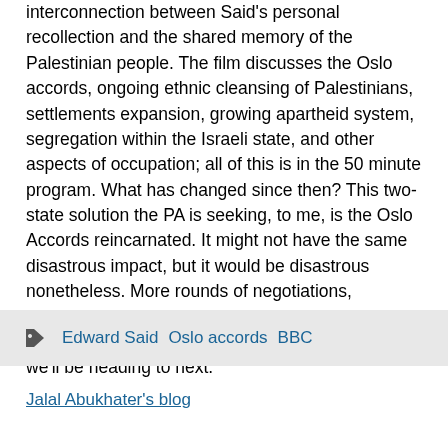interconnection between Said's personal recollection and the shared memory of the Palestinian people. The film discusses the Oslo accords, ongoing ethnic cleansing of Palestinians, settlements expansion, growing apartheid system, segregation within the Israeli state, and other aspects of occupation; all of this is in the 50 minute program. What has changed since then? This two-state solution the PA is seeking, to me, is the Oslo Accords reincarnated. It might not have the same disastrous impact, but it would be disastrous nonetheless. More rounds of negotiations, seasonal rounds of violence, daily settlement expansion; all of this makes me wonder where we'll be heading to next.
Edward Said   Oslo accords   BBC
Jalal Abukhater's blog